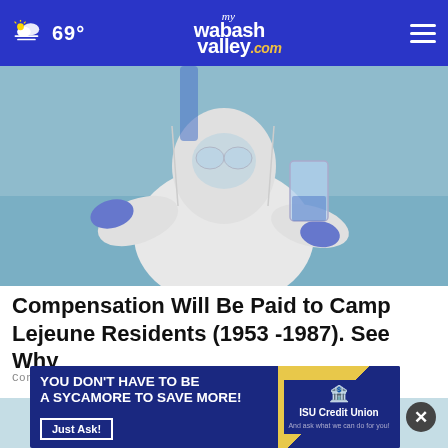69° mywabashvalley.com
[Figure (photo): Person in white hazmat suit and blue gloves holding a glass beaker near a body of water]
Compensation Will Be Paid to Camp Lejeune Residents (1953 -1987). See Why
Consumer Coalition
[Figure (photo): Man in background with advertisement overlay: ISU Credit Union - YOU DON'T HAVE TO BE A SYCAMORE TO SAVE MORE! Just Ask!]